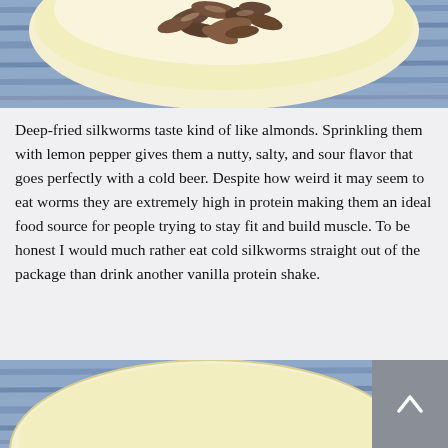[Figure (photo): Top portion of a bowl of food (silkworms) on a blue wooden surface, cropped to show upper half of the bowl and background.]
Deep-fried silkworms taste kind of like almonds. Sprinkling them with lemon pepper gives them a nutty, salty, and sour flavor that goes perfectly with a cold beer. Despite how weird it may seem to eat worms they are extremely high in protein making them an ideal food source for people trying to stay fit and build muscle. To be honest I would much rather eat cold silkworms straight out of the package than drink another vanilla protein shake.
[Figure (photo): Bottom portion of a similar bowl of food on a blue wooden surface, cropped to show the lower portion of the scene, with a scroll-to-top button overlaid.]